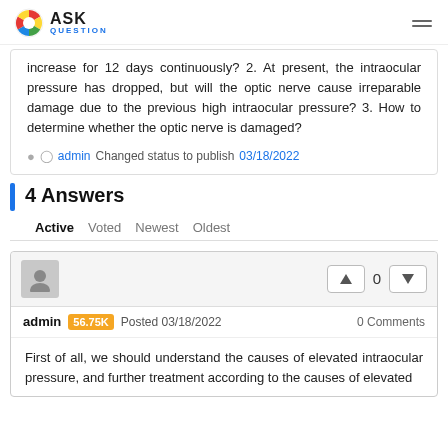ASK QUESTION
increase for 12 days continuously? 2. At present, the intraocular pressure has dropped, but will the optic nerve cause irreparable damage due to the previous high intraocular pressure? 3. How to determine whether the optic nerve is damaged?
admin Changed status to publish 03/18/2022
4 Answers
Active Voted Newest Oldest
admin 56.75K Posted 03/18/2022 | 0 Comments
First of all, we should understand the causes of elevated intraocular pressure, and further treatment according to the causes of elevated